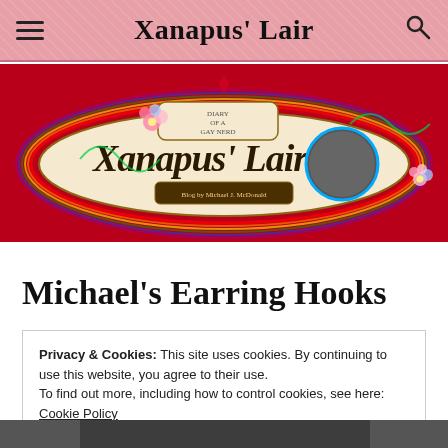Xanapus' Lair
[Figure (illustration): Xanapus' Lair blog banner on red background with decorative Victorian-style logo reading 'Xanapus' Lair – Diary of a Gay Nerd – Blog by Michael J. McDonald' with flowers, swirls, and a circular portrait photo]
Michael's Earring Hooks
Privacy & Cookies: This site uses cookies. By continuing to use this website, you agree to their use.
To find out more, including how to control cookies, see here: Cookie Policy
Close and accept
[Figure (photo): Partial photo at bottom of page, appears to be a dark historical image]